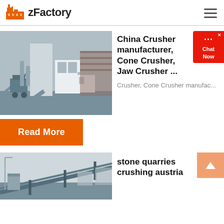zFactory
China Crusher manufacturer, Cone Crusher, Jaw Crusher ...
Crusher, Cone Crusher manufac...
Read More
[Figure (photo): Industrial crushing/screening plant equipment with silos and conveyor structures]
stone quarries crushing austria
[Figure (photo): Quarry with conveyor bridge equipment]